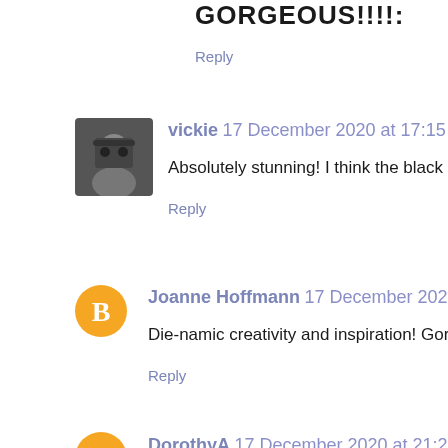GORGEOUS!!!!
Reply
[Figure (photo): Profile photo of vickie - a woman with sunglasses]
vickie 17 December 2020 at 17:15
Absolutely stunning! I think the black and wh
Reply
[Figure (logo): Blogger orange circle icon for Joanne Hoffmann]
Joanne Hoffmann 17 December 2020 at 18:4
Die-namic creativity and inspiration! Gorgeou
Reply
[Figure (logo): Blogger orange circle icon for DorothyA]
DorothyA 17 December 2020 at 21:22
Such an awesome variety of cards and so mu